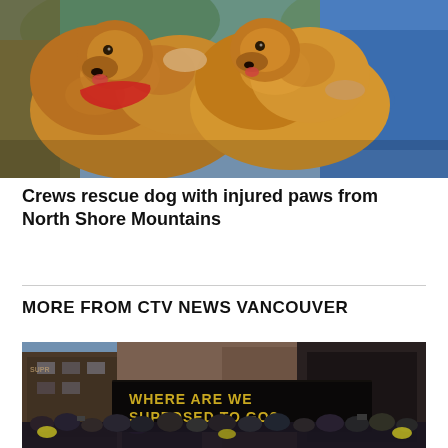[Figure (photo): Two fluffy golden-brown dogs being petted by people outdoors; one dog wearing a red harness]
Crews rescue dog with injured paws from North Shore Mountains
MORE FROM CTV NEWS VANCOUVER
[Figure (photo): Protest crowd in front of buildings with a large black banner reading 'WHERE ARE WE SUPPOSED TO GO?' in gold letters, graffiti visible in background]